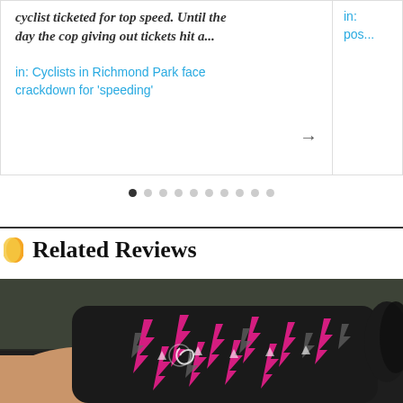cyclist ticketed for top speed. Until the day the cop giving out tickets hit a...
in: Cyclists in Richmond Park face crackdown for 'speeding'
in: pos...
[Figure (infographic): Pagination dots — 10 dots in a row, first dot filled/dark, rest empty/grey]
Related Reviews
[Figure (photo): Close-up photo of a person's hand wearing a black cycling glove with pink and grey lightning bolt pattern design, with blurred outdoor background]